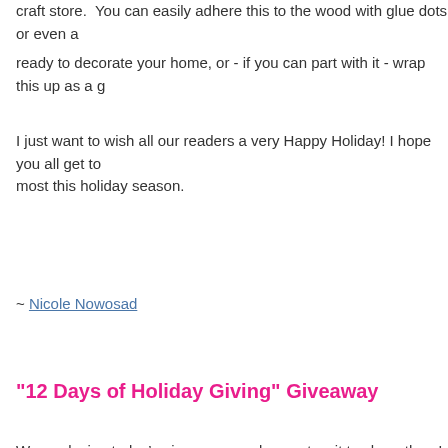craft store.  You can easily adhere this to the wood with glue dots or even a
ready to decorate your home, or - if you can part with it - wrap this up as a g
I just want to wish all our readers a very Happy Holiday! I hope you all get to most this holiday season.
~ Nicole Nowosad
"12 Days of Holiday Giving" Giveaway
We are loving today's giveaways and cannot wait to share them! Ready? Lo kidding! We'll move away from tradition and offer these prizes starting with o